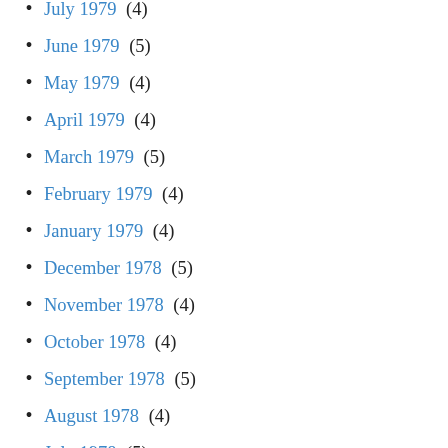July 1979 (4)
June 1979 (5)
May 1979 (4)
April 1979 (4)
March 1979 (5)
February 1979 (4)
January 1979 (4)
December 1978 (5)
November 1978 (4)
October 1978 (4)
September 1978 (5)
August 1978 (4)
July 1978 (5)
June 1978 (4)
May 1978 (4)
April 1978 (5)
March 1978 (4)